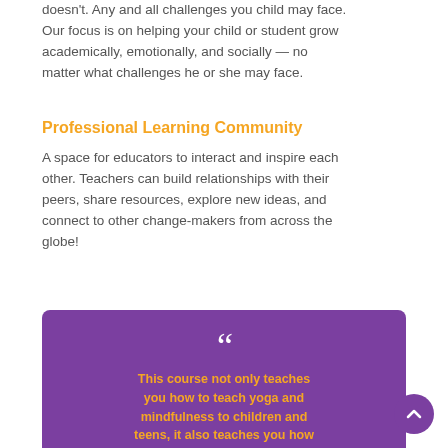doesn't. Any and all challenges you child may face. Our focus is on helping your child or student grow academically, emotionally, and socially — no matter what challenges he or she may face.
Professional Learning Community
A space for educators to interact and inspire each other. Teachers can build relationships with their peers, share resources, explore new ideas, and connect to other change-makers from across the globe!
[Figure (other): Purple quote box with large white quotation marks and orange bold text reading: This course not only teaches you how to teach yoga and mindfulness to children and teens, it also teaches you how to meet the emotional needs of children. Children love to be listened to and involved in what is going on in their own lives, so...]